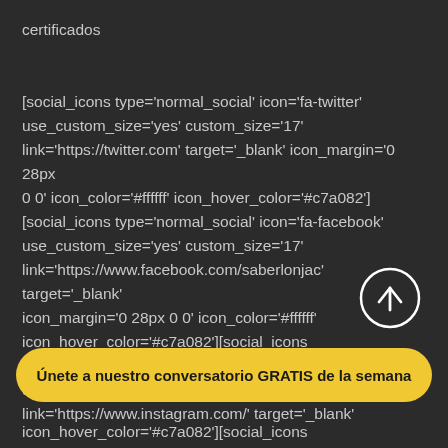certificados

[social_icons type='normal_social' icon='fa-twitter' use_custom_size='yes' custom_size='17' link='https://twitter.com' target='_blank' icon_margin='0 28px 0 0' icon_color='#ffffff' icon_hover_color='#c7a082'] [social_icons type='normal_social' icon='fa-facebook' use_custom_size='yes' custom_size='17' link='https://www.facebook.com/saberlonjac' target='_blank' icon_margin='0 28px 0 0' icon_color='#ffffff' icon_hover_color='#c7a082'][social_icons type='normal_social' icon='fa-instagram' use_custom_size='yes' custom_size='17' link='https://www.instagram.com/' target='_blank'
[Figure (other): Back-to-top circular button with upward arrow icon]
Únete a nuestro conversatorio GRATIS de la semana
icon_hover_color='#c7a082'][social_icons